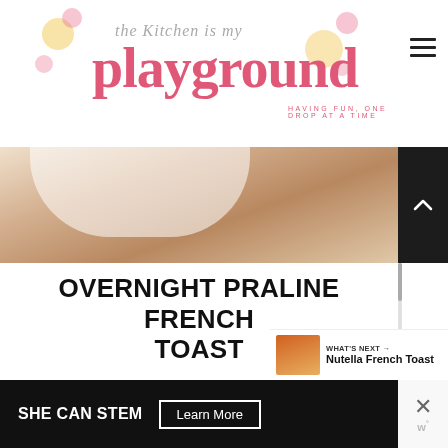the Kitchen is my playground
[Figure (photo): Close-up photo of a white dish on a wooden surface, partial view of breakfast/french toast dish]
OVERNIGHT PRALINE FRENCH TOAST
With assemble-ahead ease and a decadently delicious pecan-and-brown-sugar topping baked on top, this Overnight Praline French Toast perfect holiday brunch or breakfast
[Figure (photo): What's Next thumbnail showing Nutella French Toast]
WHAT'S NEXT → Nutella French Toast
SHE CAN STEM  Learn More